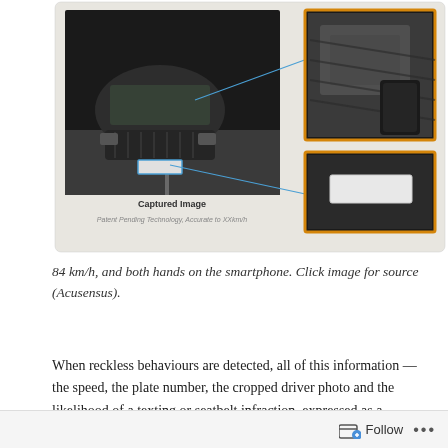[Figure (photo): Surveillance/traffic camera composite image showing a car captured from above, with cropped zoom-in boxes showing the driver holding a smartphone and the license plate. Labels read 'Captured Image' and 'Patent Pending Technology, Accurate to XXkm/h'.]
84 km/h, and both hands on the smartphone. Click image for source (Acusensus).
When reckless behaviours are detected, all of this information — the speed, the plate number, the cropped driver photo and the likelihood of a texting or seatbelt infraction, expressed as a percentage — are immediately relayed to a human adjudicator in a remote command station. If there's a clear infraction, based on the adjudicator's assessment of the machine-flagged photo, then they can